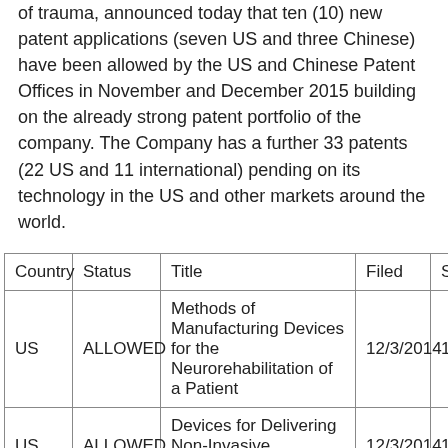of trauma, announced today that ten (10) new patent applications (seven US and three Chinese) have been allowed by the US and Chinese Patent Offices in November and December 2015 building on the already strong patent portfolio of the company. The Company has a further 33 patents (22 US and 11 international) pending on its technology in the US and other markets around the world.
| Country | Status | Title | Filed | Ser |
| --- | --- | --- | --- | --- |
| US | ALLOWED | Methods of Manufacturing Devices for the Neurorehabilitation of a Patient | 12/3/2014 | 14/ |
| US | ALLOWED | Devices for Delivering Non-Invasive Neuromodula... | 12/3/2014 | 14/ |